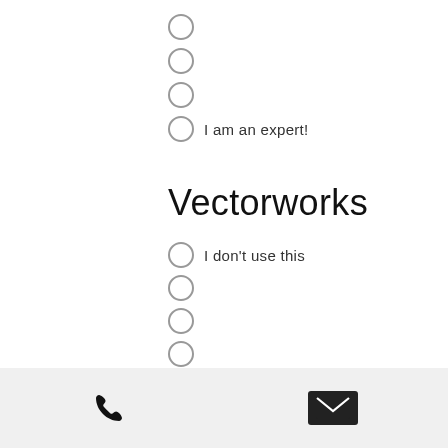(radio button, no label)
(radio button, no label)
(radio button, no label)
I am an expert!
Vectorworks
I don't use this
(radio button, no label)
(radio button, no label)
(radio button, no label)
(radio button, no label)
I am an expert!
Phone and email contact icons